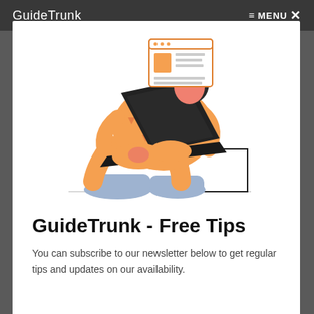GuideTrunk   ≡ MENU ✕
[Figure (illustration): A person in orange pajamas with triangle patterns sitting on a box and using a laptop. A browser/document window floats above the laptop screen. The person has blue socks and a dark bun hairstyle.]
GuideTrunk - Free Tips
You can subscribe to our newsletter below to get regular tips and updates on our availability.